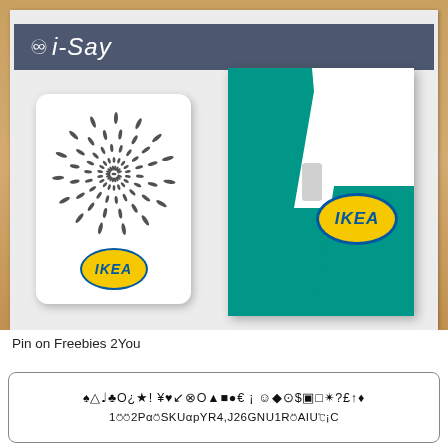[Figure (photo): Photo of two IKEA gift cards on a wooden surface. On the left is a small IKEA card with a black dot/feather pattern and IKEA oval logo. On the right is a larger IKEA card with a green and white diagonal stripe pattern and IKEA oval logo. Behind both cards is an i-Say branded envelope/mailer with a dark blue-gray banner showing the i-Say logo and name.]
Pin on Freebies 2You
♠△♩♣O¿★! ¥♥↙⊗O▲■●€ ¡ ☺◆⊙$▣□✴?£↑♦
1⍥⍥2Ρα⍥SKUαpYR4,J26GNU1R⍥AIU℃¡C